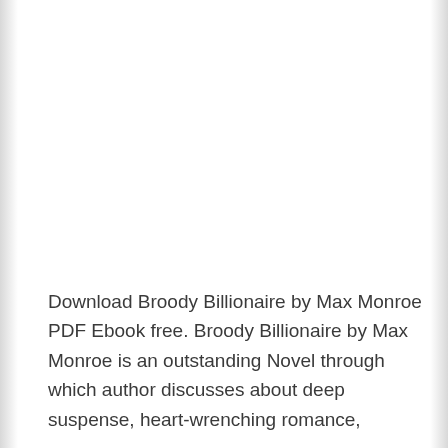Download Broody Billionaire by Max Monroe PDF Ebook free. Broody Billionaire by Max Monroe is an outstanding Novel through which author discusses about deep suspense, heart-wrenching romance,